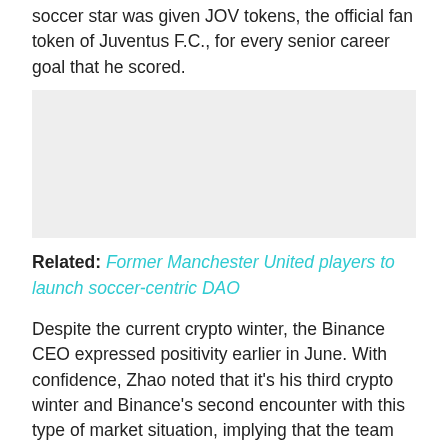soccer star was given JOV tokens, the official fan token of Juventus F.C., for every senior career goal that he scored.
[Figure (photo): Image placeholder / advertisement block with light grey background]
Related: Former Manchester United players to launch soccer-centric DAO
Despite the current crypto winter, the Binance CEO expressed positivity earlier in June. With confidence, Zhao noted that it’s his third crypto winter and Binance’s second encounter with this type of market situation, implying that the team knows how to navigate their way in a bear market.